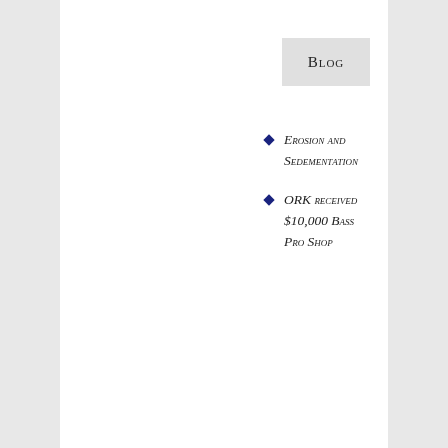Blog
Erosion and Sedimentation
ORK received $10,000 Bass Pro Shop